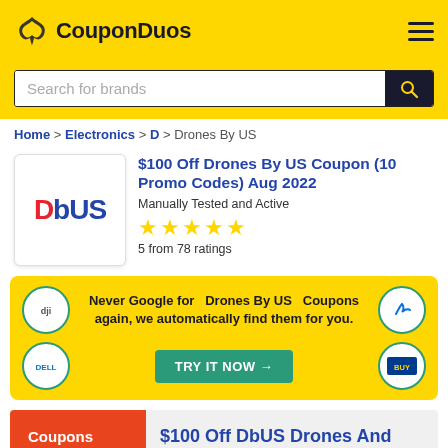CouponDuos
Search for brands
Home > Electronics > D > Drones By US
$100 Off Drones By US Coupon (10 Promo Codes) Aug 2022
Manually Tested and Active
5 from 78 ratings
Never Google for Drones By US Coupons again, we automatically find them for you. TRY IT NOW →
Coupons
$100 Off DbUS Drones And